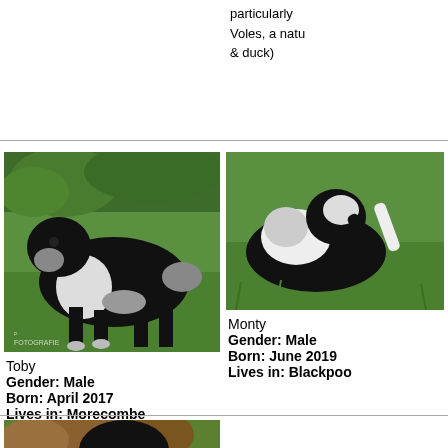particularly Voles, a natu & duck)
[Figure (photo): Black and white large dog (Landseer/Newfoundland type) standing on green lawn with foliage in background. Photographer watermark: FOTOGRAFIE.]
[Figure (photo): Partial view of a black and white dog lying or rolling on green grass, right side cropped.]
Toby
Gender: Male
Born: April 2017
Lives in: Morecombe
Monty
Gender: Male
Born: June 2019
Lives in: Blackpool
[Figure (photo): Partial view of a black dog among autumn leaves, bottom portion of page, cropped.]